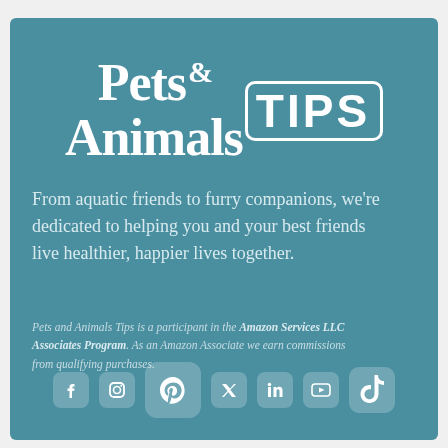[Figure (logo): Pets & Animals TIPS logo — serif 'Pets Animals' text with an ampersand, and 'TIPS' in bold sans-serif inside a rounded rectangle, all white on teal background]
From aquatic friends to furry companions, we're dedicated to helping you and your best friends live healthier, happier lives together.
Pets and Animals Tips is a participant in the Amazon Services LLC Associates Program. As an Amazon Associate we earn commissions from qualifying purchases.
[Figure (infographic): Row of social media icons: Facebook, Instagram, Pinterest (large), Twitter, LinkedIn, YouTube, TikTok — white icons on semi-transparent rounded square backgrounds]